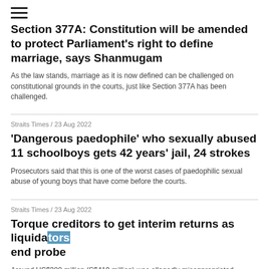≡
Section 377A: Constitution will be amended to protect Parliament's right to define marriage, says Shanmugam
As the law stands, marriage as it is now defined can be challenged on constitutional grounds in the courts, just like Section 377A has been challenged.
Straits Times / 23 Aug 2022
'Dangerous paedophile' who sexually abused 11 schoolboys gets 42 years' jail, 24 strokes
Prosecutors said that this is one of the worst cases of paedophilic sexual abuse of young boys that have come before the courts.
Straits Times / 23 Aug 2022
Torque creditors to get interim returns as liquidators end probe
Around US$300 million (S$419 million) was allegedly misappropriated